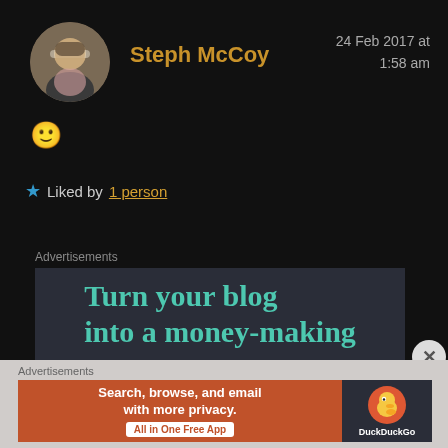[Figure (photo): Circular profile photo of Steph McCoy]
Steph McCoy
24 Feb 2017 at 1:58 am
🙂
★ Liked by 1 person
Advertisements
[Figure (screenshot): Advertisement banner: Turn your blog into a money-making]
Advertisements
[Figure (screenshot): DuckDuckGo advertisement: Search, browse, and email with more privacy. All in One Free App]